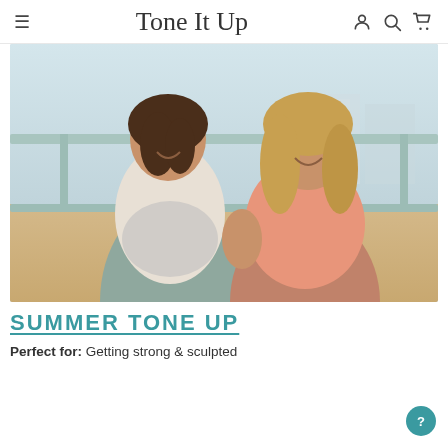Tone It Up
[Figure (photo): Two women in athletic/activewear (sports bras) smiling outdoors near a beach boardwalk railing. Left woman wears light grey sports bra and teal leggings; right woman wears coral/orange sports bra.]
SUMMER TONE UP
Perfect for: Getting strong & sculpted